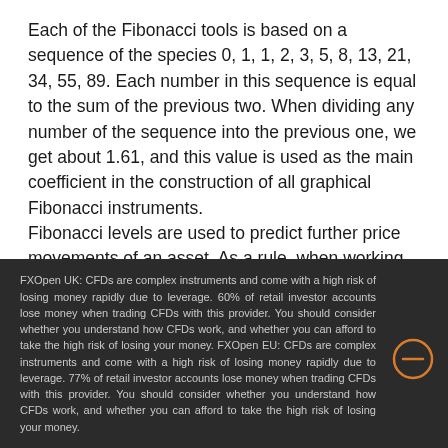Each of the Fibonacci tools is based on a sequence of the species 0, 1, 1, 2, 3, 5, 8, 13, 21, 34, 55, 89. Each number in this sequence is equal to the sum of the previous two. When dividing any number of the sequence into the previous one, we get about 1.61, and this value is used as the main coefficient in the construction of all graphical Fibonacci instruments.
Fibonacci levels are used to predict further price movements of an asset. As a rule, when working with such indicators, a binding to an already existing trend is used to predict either its further development or correction.
FXOpen UK: CFDs are complex instruments and come with a high risk of losing money rapidly due to leverage. 60% of retail investor accounts lose money when trading CFDs with this provider. You should consider whether you understand how CFDs work, and whether you can afford to take the high risk of losing your money. FXOpen EU: CFDs are complex instruments and come with a high risk of losing money rapidly due to leverage. 77% of retail investor accounts lose money when trading CFDs with this provider. You should consider whether you understand how CFDs work, and whether you can afford to take the high risk of losing your money.